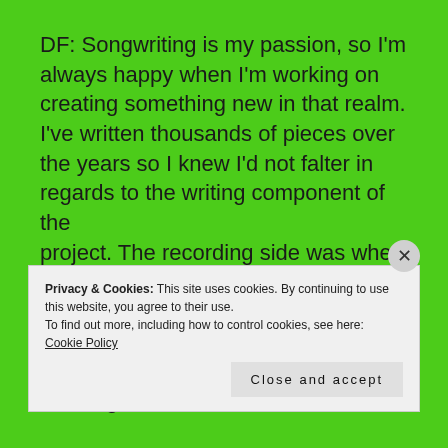DF: Songwriting is my passion, so I'm always happy when I'm working on creating something new in that realm. I've written thousands of pieces over the years so I knew I'd not falter in regards to the writing component of the project. The recording side was where my self-doubt lay as although I've recorded myself before, I've never really brought it to this level before. There was a lot to learn and I'm still learning all the time,
Privacy & Cookies: This site uses cookies. By continuing to use this website, you agree to their use. To find out more, including how to control cookies, see here: Cookie Policy
Close and accept